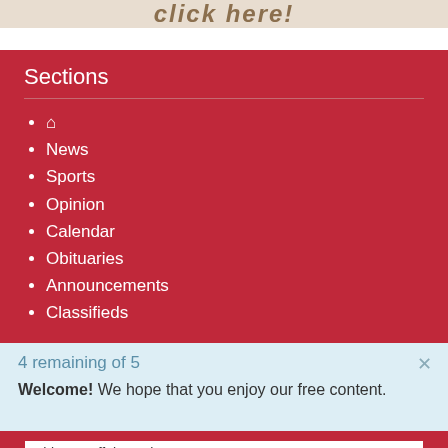[Figure (other): Banner with bold italic text 'click here!' on a tan/beige background, partially cut off at top]
Sections
🏠 (home icon)
News
Sports
Opinion
Calendar
Obituaries
Announcements
Classifieds
4 remaining of 5
Welcome! We hope that you enjoy our free content.
Thirsty Buffalo to close